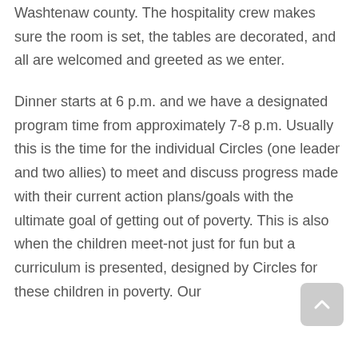Washtenaw county. The hospitality crew makes sure the room is set, the tables are decorated, and all are welcomed and greeted as we enter.
Dinner starts at 6 p.m. and we have a designated program time from approximately 7-8 p.m. Usually this is the time for the individual Circles (one leader and two allies) to meet and discuss progress made with their current action plans/goals with the ultimate goal of getting out of poverty. This is also when the children meet-not just for fun but a curriculum is presented, designed by Circles for these children in poverty. Our